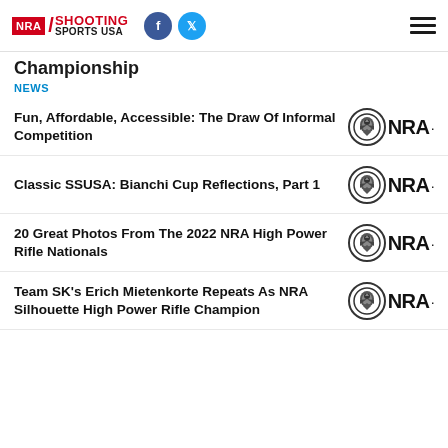NRA Shooting Sports USA
Championship
NEWS
Fun, Affordable, Accessible: The Draw Of Informal Competition
Classic SSUSA: Bianchi Cup Reflections, Part 1
20 Great Photos From The 2022 NRA High Power Rifle Nationals
Team SK's Erich Mietenkorte Repeats As NRA Silhouette High Power Rifle Champion